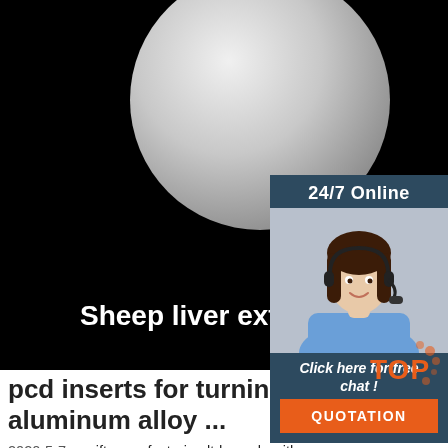[Figure (photo): Hero image on black background showing a gray spherical object (powder/material) with white bold text overlay reading 'Sheep liver extract drying p' (truncated). Overlaid by a 24/7 online chat widget showing a woman with headset.]
pcd inserts for turning and milling aluminum alloy ...
2020-5-7 · swift manufacturing ltd supply with polycrystalline diamond pcd inserts for turning and face milling, pcd cutting tool inserts which is an indexable inserts widely used in cnc machining for fine finishing aluminum alloy and tungsten carbide, such as work part of aumotive cylinder head,wheel hub,pressure tanks,gearbox shaft,valves and composite bearing materials, different pcd grain sizes.